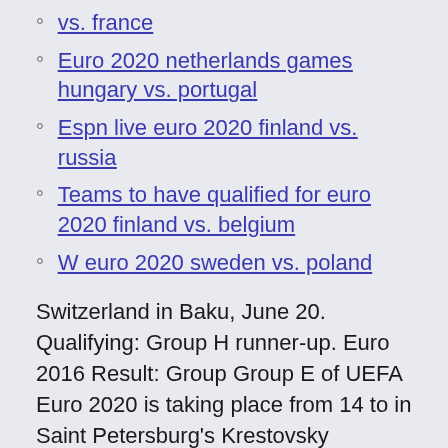vs. france
Euro 2020 netherlands games hungary vs. portugal
Espn live euro 2020 finland vs. russia
Teams to have qualified for euro 2020 finland vs. belgium
W euro 2020 sweden vs. poland
Switzerland in Baku, June 20. Qualifying: Group H runner-up. Euro 2016 Result: Group Group E of UEFA Euro 2020 is taking place from 14 to in Saint Petersburg's Krestovsky Stadium and Seville's La Cartuja. The group contains host nation Spain, Sweden, Poland and Slovakia. The matches were originally scheduled to be played at Bilbao's San Mamés and